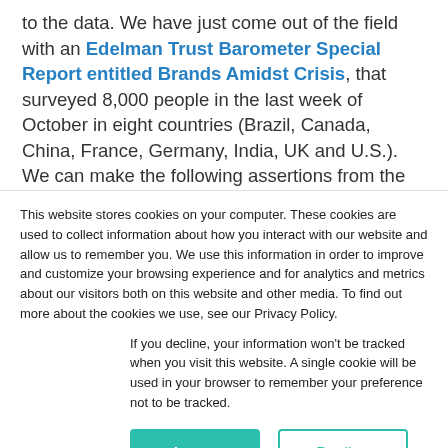to the data. We have just come out of the field with an Edelman Trust Barometer Special Report entitled Brands Amidst Crisis, that surveyed 8,000 people in the last week of October in eight countries (Brazil, Canada, China, France, Germany, India, UK and U.S.). We can make the following assertions from the research:
This website stores cookies on your computer. These cookies are used to collect information about how you interact with our website and allow us to remember you. We use this information in order to improve and customize your browsing experience and for analytics and metrics about our visitors both on this website and other media. To find out more about the cookies we use, see our Privacy Policy.
If you decline, your information won't be tracked when you visit this website. A single cookie will be used in your browser to remember your preference not to be tracked.